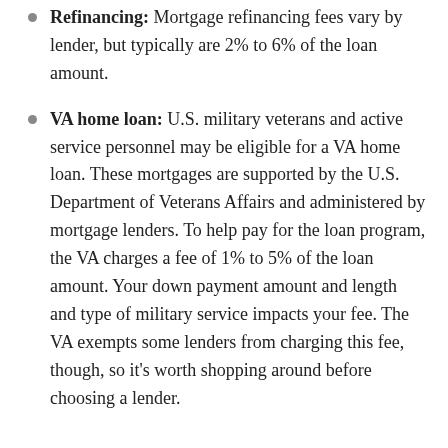Refinancing: Mortgage refinancing fees vary by lender, but typically are 2% to 6% of the loan amount.
VA home loan: U.S. military veterans and active service personnel may be eligible for a VA home loan. These mortgages are supported by the U.S. Department of Veterans Affairs and administered by mortgage lenders. To help pay for the loan program, the VA charges a fee of 1% to 5% of the loan amount. Your down payment amount and length and type of military service impacts your fee. The VA exempts some lenders from charging this fee, though, so it's worth shopping around before choosing a lender.